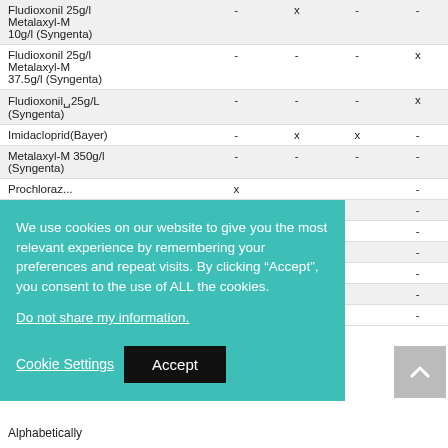| Product | Col1 | Col2 | Col3 | Col4 |
| --- | --- | --- | --- | --- |
| Fludioxonil 25g/l Metalaxyl-M 10g/l (Syngenta) | - | x | - | - |
| Fludioxonil 25g/l Metalaxyl-M 37.5g/l (Syngenta) | - | - | - | x |
| Fludioxonil 25g/L (Syngenta) | - | - | - | x |
| Imidacloprid(Bayer) | - | x | x | - |
| Metalaxyl-M 350g/l (Syngenta) | - | - | - | - |
| Prochloraz... | x | - |  |  |
|  |  |  |  | - |
|  | x |  |  | - |
|  |  |  |  | - |
|  | x |  |  | - |
|  |  |  |  | - |
|  |  |  |  | - |
| Alphabetically |  |  |  |  |
We use cookies on our website to give you the most relevant experience by remembering your preferences and repeat visits. By clicking "Accept", you consent to the use of ALL the cookies.
Do not share my information.
Cookie Settings  Accept